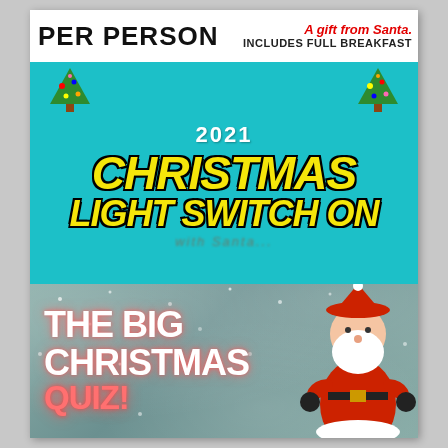PER PERSON
A gift from Santa. INCLUDES FULL BREAKFAST
[Figure (infographic): 2021 Christmas Light Switch On event promotional image with teal/cyan background, yellow italic bold text, Christmas trees on either side]
[Figure (photo): The Big Christmas Quiz! promotional image with snowy grey background and Santa Claus figure on the right]